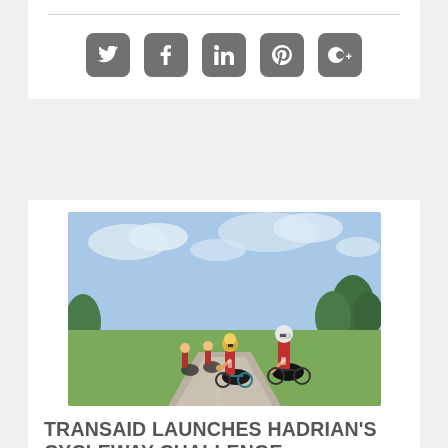[Figure (other): Social media share icons: Twitter, Facebook, LinkedIn, Pinterest, Google+]
[Figure (photo): Group of cyclists in red and white jerseys riding on a path through green parkland]
TRANSAID LAUNCHES HADRIAN'S CYCLEWAY CHALLENGE
23rd March 2022
International development organisation Transaid is calling on cyclists from across the transport and logistics industry